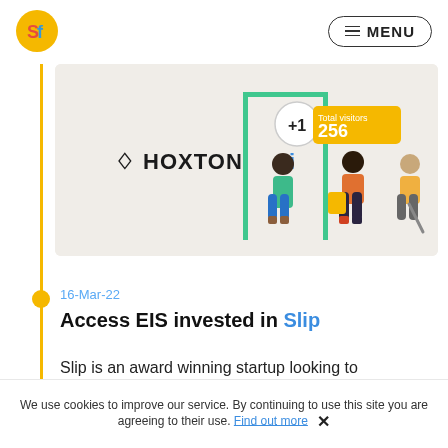SF Logo | MENU
[Figure (illustration): Hoxton AI branded banner showing people entering through a green doorway with a '+1' counter and 'Total visitors 256' badge on a beige background]
16-Mar-22
Access EIS invested in Slip
Slip is an award winning startup looking to humanise digital receipts, and customer
We use cookies to improve our service. By continuing to use this site you are agreeing to their use. Find out more ✕